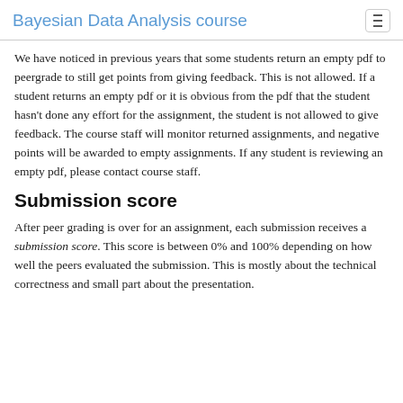Bayesian Data Analysis course
We have noticed in previous years that some students return an empty pdf to peergrade to still get points from giving feedback. This is not allowed. If a student returns an empty pdf or it is obvious from the pdf that the student hasn't done any effort for the assignment, the student is not allowed to give feedback. The course staff will monitor returned assignments, and negative points will be awarded to empty assignments. If any student is reviewing an empty pdf, please contact course staff.
Submission score
After peer grading is over for an assignment, each submission receives a submission score. This score is between 0% and 100% depending on how well the peers evaluated the submission. This is mostly about the technical correctness and small part about the presentation.